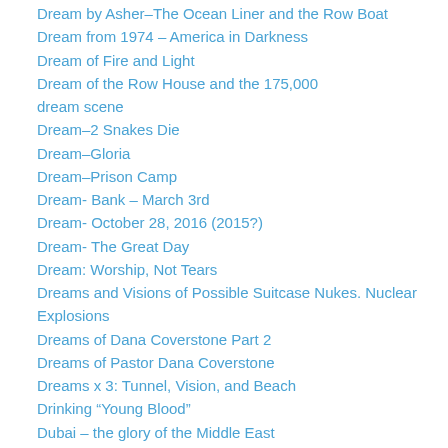Dream by Asher–The Ocean Liner and the Row Boat
Dream from 1974 – America in Darkness
Dream of Fire and Light
Dream of the Row House and the 175,000
dream scene
Dream–2 Snakes Die
Dream–Gloria
Dream–Prison Camp
Dream- Bank – March 3rd
Dream- October 28, 2016 (2015?)
Dream- The Great Day
Dream: Worship, Not Tears
Dreams and Visions of Possible Suitcase Nukes. Nuclear Explosions
Dreams of Dana Coverstone Part 2
Dreams of Pastor Dana Coverstone
Dreams x 3: Tunnel, Vision, and Beach
Drinking “Young Blood”
Dubai – the glory of the Middle East
Eagle and 3 Serpents
Earth Night of 11-14-08 – what is going on?